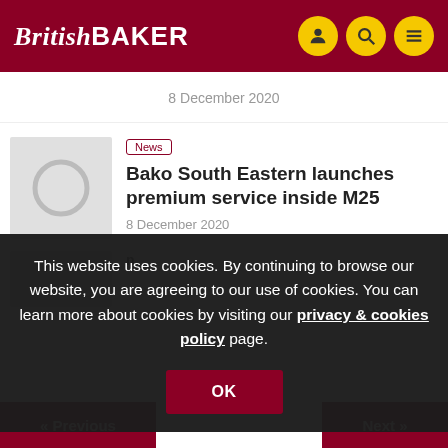British Baker
8 December 2020
News
Bako South Eastern launches premium service inside M25
8 December 2020
This website uses cookies. By continuing to browse our website, you are agreeing to our use of cookies. You can learn more about cookies by visiting our privacy & cookies policy page.
OK
<< Previous   Next >>